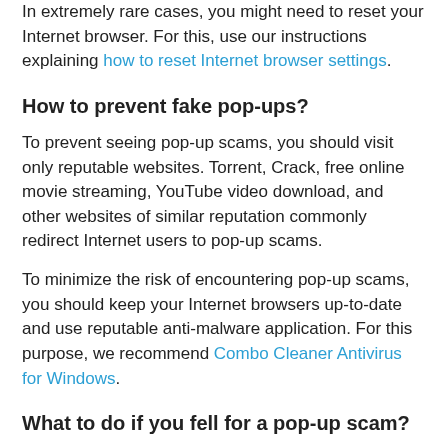In extremely rare cases, you might need to reset your Internet browser. For this, use our instructions explaining how to reset Internet browser settings.
How to prevent fake pop-ups?
To prevent seeing pop-up scams, you should visit only reputable websites. Torrent, Crack, free online movie streaming, YouTube video download, and other websites of similar reputation commonly redirect Internet users to pop-up scams.
To minimize the risk of encountering pop-up scams, you should keep your Internet browsers up-to-date and use reputable anti-malware application. For this purpose, we recommend Combo Cleaner Antivirus for Windows.
What to do if you fell for a pop-up scam?
This depends on the type of scam that you fell for. Most pop-up scams try to trick users into sending money, giving away personal information, or giving access to your device.